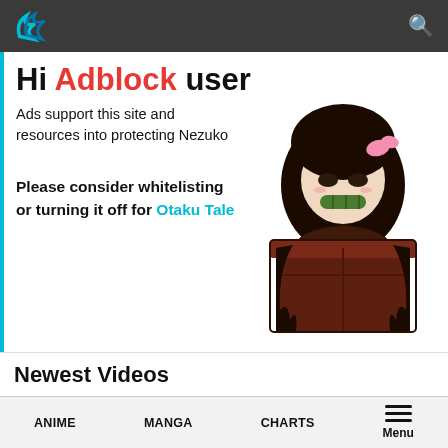Otaku Tale website header with logo and search icon
Hi Adblock user
Ads support this site and resources into protecting Nezuko
[Figure (illustration): Chibi anime character (Nezuko from Demon Slayer) peeking out of a brown wooden box, with dark hair tied by a pink ribbon, holding a green bamboo piece in mouth]
Please consider whitelisting or turning it off for Otaku Tale
Newest Videos
Kono Subarashii Sekai ni Bakuen wo! Promotional
ANIME  MANGA  CHARTS  Menu